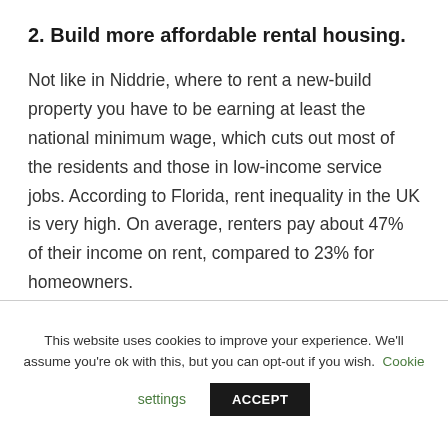2. Build more affordable rental housing.
Not like in Niddrie, where to rent a new-build property you have to be earning at least the national minimum wage, which cuts out most of the residents and those in low-income service jobs. According to Florida, rent inequality in the UK is very high. On average, renters pay about 47% of their income on rent, compared to 23% for homeowners.
This website uses cookies to improve your experience. We'll assume you're ok with this, but you can opt-out if you wish. Cookie settings ACCEPT